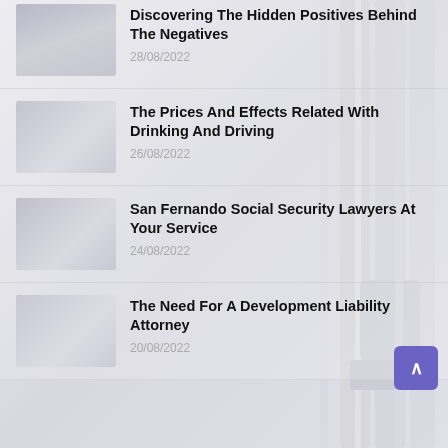Discovering The Hidden Positives Behind The Negatives
28/08/2022
The Prices And Effects Related With Drinking And Driving
26/08/2022
San Fernando Social Security Lawyers At Your Service
24/08/2022
The Need For A Development Liability Attorney
20/08/2022